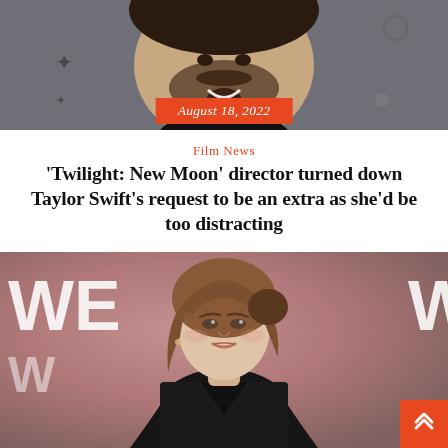[Figure (photo): Photo of a smiling man with beard and mustache at an event, with an orange date badge overlay reading 'August 18, 2022']
August 18, 2022
Film News
'Twilight: New Moon' director turned down Taylor Swift's request to be an extra as she'd be too distracting
[Figure (photo): Photo of Taylor Swift wearing a black blazer, with brown hair with bangs, posing in front of a white banner with 'WE' text]